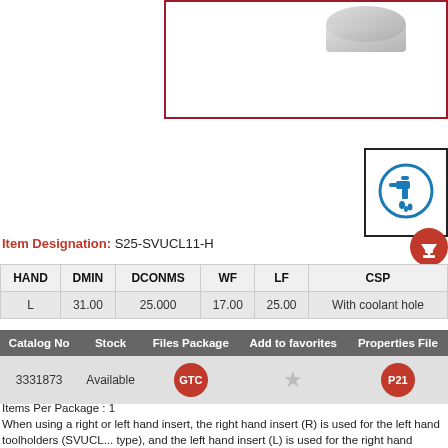[Figure (photo): Partial view of a cutting tool / toolholder product (gray, metallic) shown against white background, inside a dark red bordered box in the upper right.]
[Figure (other): Coolant-through icon: blue faucet with water droplets inside a blue circle, bordered black box.]
Item Designation: S25-SVUCL11-H
[Figure (other): Red circle with white download arrow icon.]
| HAND | DMIN | DCONMS | WF | LF | CSP |
| --- | --- | --- | --- | --- | --- |
| L | 31.00 | 25.000 | 17.00 | 25.00 | With coolant hole |
| Catalog No | Stock | Files Package | Add to favorites | Properties File |
| --- | --- | --- | --- | --- |
| 3331873 | Available | GTC | ★ | P21 |
Items Per Package : 1
When using a right or left hand insert, the right hand insert (R) is used for the left hand toolholders (SVUCL... type), and the left hand insert (L) is used for the right hand toolholders (SVUCR... type).